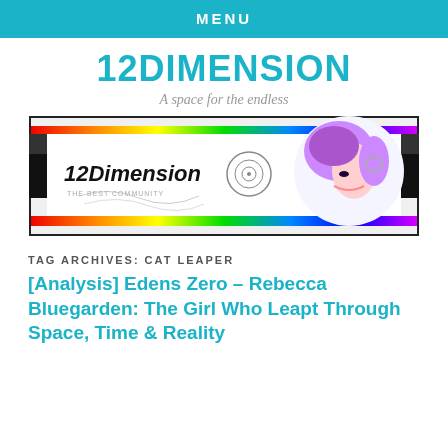MENU
12DIMENSION
A space for the endless
[Figure (illustration): 12Dimension banner with anime girl and Naruto spiral symbol on colorful rainbow border background]
TAG ARCHIVES: CAT LEAPER
[Analysis] Edens Zero – Rebecca Bluegarden: The Girl Who Leapt Through Space, Time & Reality